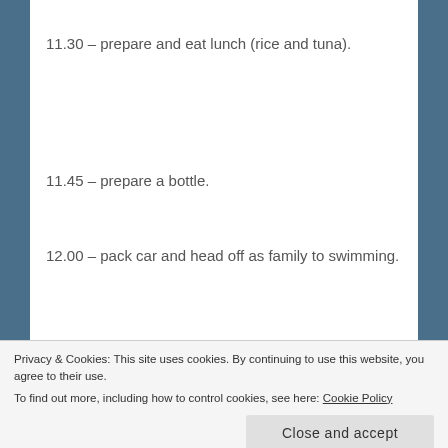11.30 – prepare and eat lunch (rice and tuna).
11.45 – prepare a bottle.
12.00 – pack car and head off as family to swimming.
12.30 – arrive at swimming, change and get baby ready.
Privacy & Cookies: This site uses cookies. By continuing to use this website, you agree to their use.
To find out more, including how to control cookies, see here: Cookie Policy
13.30 – dry and dress baby and self, go home.